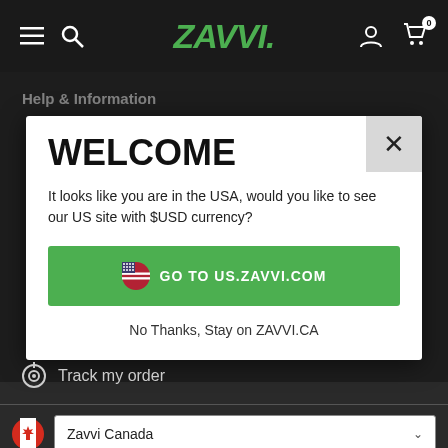[Figure (screenshot): Zavvi website navigation bar with hamburger menu, search icon, Zavvi logo in green italic, user icon, and cart icon with badge showing 0]
Help & Information
[Figure (screenshot): Welcome modal dialog on Zavvi Canada website. Contains a close X button, WELCOME heading, text asking if user wants to go to US site with USD currency, a green button saying GO TO US.ZAVVI.COM with US flag emoji, and a No Thanks Stay on ZAVVI.CA link]
WELCOME
It looks like you are in the USA, would you like to see our US site with $USD currency?
🇺🇸  GO TO US.ZAVVI.COM
No Thanks, Stay on ZAVVI.CA
Track my order
Zavvi Canada